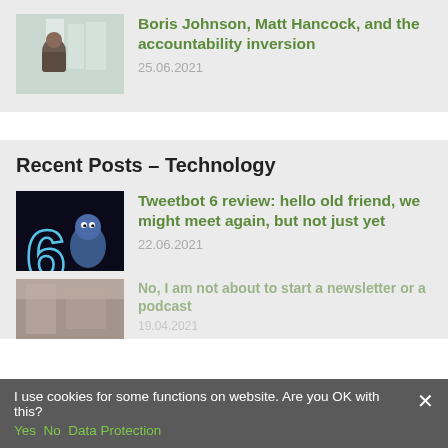[Figure (photo): Photo of a person in a glass/modern building setting]
Boris Johnson, Matt Hancock, and the accountability inversion
25.06.2021
Recent Posts – Technology
[Figure (photo): Tweetbot 6 app screenshot with a blue bird character and glowing number 6]
Tweetbot 6 review: hello old friend, we might meet again, but not just yet
22.06.2021
[Figure (photo): Partially visible post image]
No, I am not about to start a newsletter or a podcast
19.04.2021
I use cookies for some functions on website. Are you OK with this?